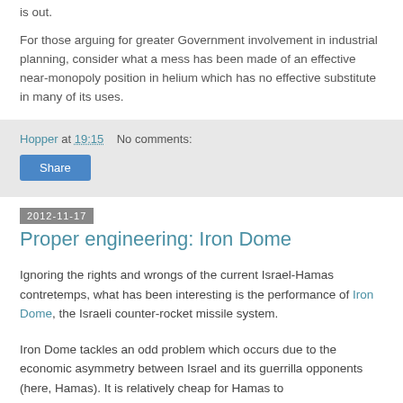is out.
For those arguing for greater Government involvement in industrial planning, consider what a mess has been made of an effective near-monopoly position in helium which has no effective substitute in many of its uses.
Hopper at 19:15    No comments:
Share
2012-11-17
Proper engineering: Iron Dome
Ignoring the rights and wrongs of the current Israel-Hamas contretemps, what has been interesting is the performance of Iron Dome, the Israeli counter-rocket missile system.
Iron Dome tackles an odd problem which occurs due to the economic asymmetry between Israel and its guerrilla opponents (here, Hamas). It is relatively cheap for Hamas to